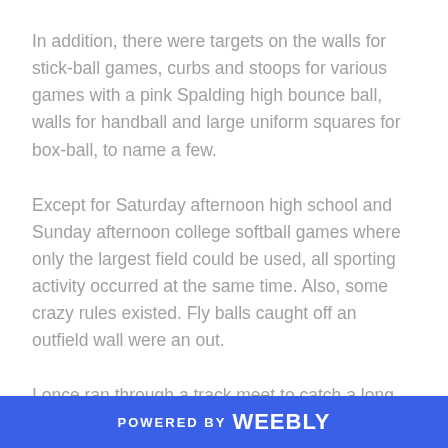In addition, there were targets on the walls for stick-ball games, curbs and stoops for various games with a pink Spalding high bounce ball, walls for handball and large uniform squares for box-ball, to name a few.
Except for Saturday afternoon high school and Sunday afternoon college softball games where only the largest field could be used, all sporting activity occurred at the same time. Also, some crazy rules existed. Fly balls caught off an outfield wall were an out.
I once ran through a track meet to catch a long fly ball for Teaneck JH during a game at Tenafly. When my coach asked how I could follow the ball through all the traffic, I commented that it was normal for a NYC school
POWERED BY weebly